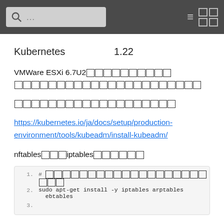... search box and navigation icons
Kubernetes    1.22
VMWare ESXi 6.7U2 [CJK text] [CJK text continued]
[CJK text paragraph]
https://kubernetes.io/ja/docs/setup/production-environment/tools/kubeadm/install-kubeadm/
nftables [CJK] iptables [CJK text]
1. # [CJK comment]
2. sudo apt-get install -y iptables arptables ebtables
3.